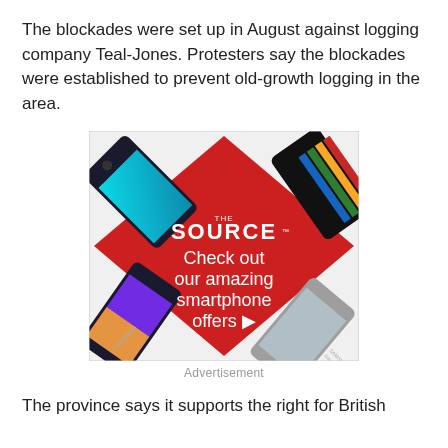The blockades were set up in August against logging company Teal-Jones. Protesters say the blockades were established to prevent old-growth logging in the area.
[Figure (photo): Advertisement banner for The Source retailer showing smartphones (Samsung Galaxy A52 5G, Samsung Galaxy S21 5G, others) on a red diamond background with text: THE SOURCE - Check out our amazing smartphone offers ▶]
Advertisement
The province says it supports the right for British